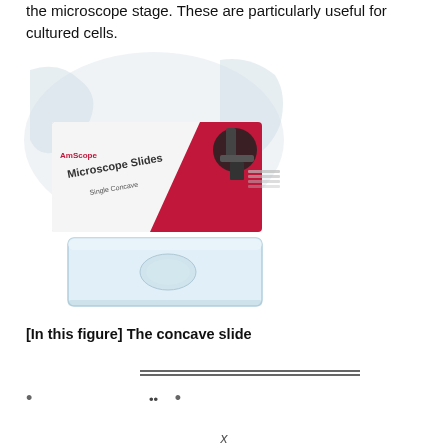the microscope stage. These are particularly useful for cultured cells.
[Figure (photo): Photo of a box of AmScope Microscope Slides (Single Concave) with a red and white packaging, showing a microscope image on the box, and a single concave glass slide in front of the box.]
[In this figure] The concave slide
— (partial, cut off at bottom)